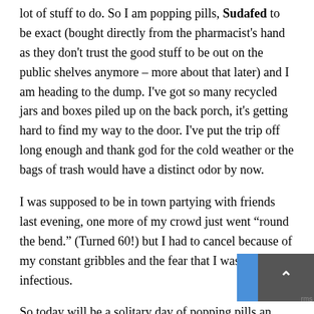lot of stuff to do. So I am popping pills, Sudafed to be exact (bought directly from the pharmacist's hand as they don't trust the good stuff to be out on the public shelves anymore – more about that later) and I am heading to the dump. I've got so many recycled jars and boxes piled up on the back porch, it's getting hard to find my way to the door. I've put the trip off long enough and thank god for the cold weather or the bags of trash would have a distinct odor by now.
I was supposed to be in town partying with friends last evening, one more of my crowd just went “round the bend.” (Turned 60!) but I had to cancel because of my constant gribbles and the fear that I was infectious.
So today will be a solitary day of popping pills and tossing jars. I have to drag the Christmas decorations up from the cellar and decide which